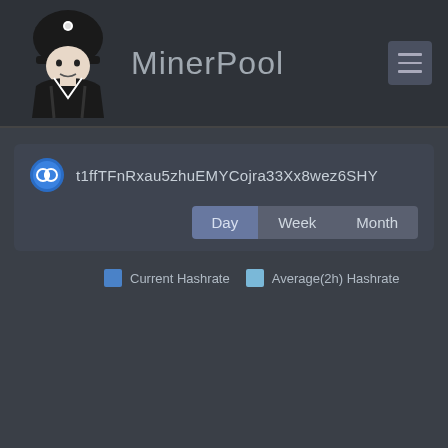MinerPool
t1ffTFnRxau5zhuEMYCojra33Xx8wez6SHY
Day  Week  Month
[Figure (other): Chart legend showing Current Hashrate (blue) and Average(2h) Hashrate (light blue) with empty chart area below. Credit: JS chart by amCharts]
JS chart by amCharts